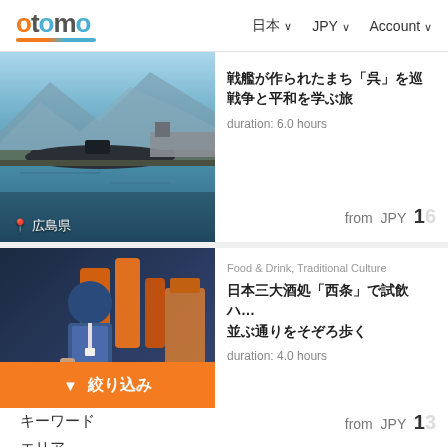otomo | 日本 ∨ | JPY ∨ | Account ∨
[Figure (photo): Harbor with submarine and naval vessels at Kure, Hiroshima Prefecture, Japan]
戦艦が作られたまち「呉」を巡…
戦争と平和を学ぶ旅
duration: 6.0 hours
from JPY 1…
[Figure (photo): Person in work uniform handling materials in an industrial or traditional craft setting]
絞り込み
Food & Drink, Traditional Culture
日本三大酒処「西条」で試飲ハ…並ぶ通りをそぞろ歩く
duration: 4.0 hours
from JPY 1…
キーワード
エリア
所要時間
料金